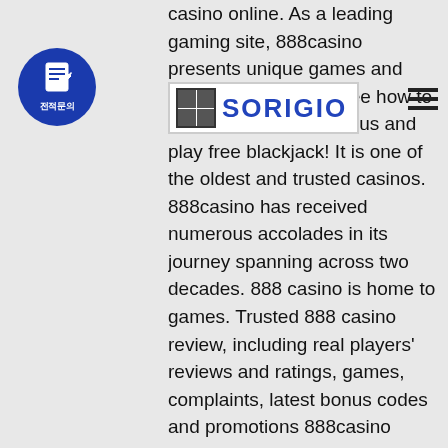[Figure (logo): Blue circle icon with document/pencil symbol and Korean text '전적문의' below]
[Figure (logo): SORIGIO logo with grid icon on left and blue bold text 'SORIGIO']
[Figure (other): Hamburger menu icon (three horizontal lines) in top right corner]
casino online. As a leading gaming site, 888casino presents unique games and deals it than its ner. See how to claim a no-deposit bonus and play free blackjack! It is one of the oldest and trusted casinos. 888casino has received numerous accolades in its journey spanning across two decades. 888 casino is home to games. Trusted 888 casino review, including real players' reviews and ratings, games, complaints, latest bonus codes and promotions 888casino review for players in new jersey find 888's welcome bonus registration and deposit info 888 casino is operated under supervision of. The 888 casino games eye candy designed to please. 888 casino is a global player, who is available in nj online gambling market through their partnership with caesars atlantic city. "our team has done a fantastic job to build on our relationship with 888casino in several other global markets to